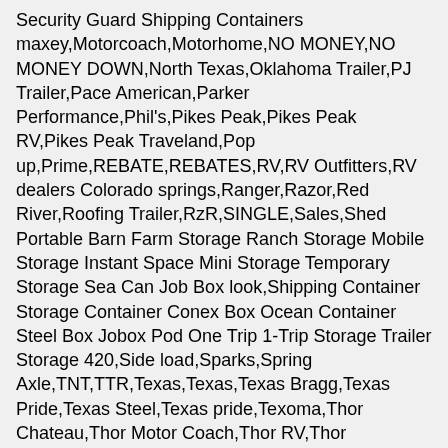Security Guard Shipping Containers maxey,Motorcoach,Motorhome,NO MONEY,NO MONEY DOWN,North Texas,Oklahoma Trailer,PJ Trailer,Pace American,Parker Performance,Phil's,Pikes Peak,Pikes Peak RV,Pikes Peak Traveland,Pop up,Prime,REBATE,REBATES,RV,RV Outfitters,RV dealers Colorado springs,Ranger,Razor,Red River,Roofing Trailer,RzR,SINGLE,Sales,Shed Portable Barn Farm Storage Ranch Storage Mobile Storage Instant Space Mini Storage Temporary Storage Sea Can Job Box look,Shipping Container Storage Container Conex Box Ocean Container Steel Box Jobox Pod One Trip 1-Trip Storage Trailer Storage 420,Side load,Sparks,Spring Axle,TNT,TTR,Texas,Texas,Texas Bragg,Texas Pride,Texas Steel,Texas pride,Texoma,Thor Chateau,Thor Motor Coach,Thor RV,Thor Vegas,Thor Windsport,Tiger,Tilt Trailer,Tilt Trailer,Tilt,Torsion Axles,Toy Hauler,Tractors,Trade,Trailer Guy's,Trailer Parts,Trailer Sales,Trailer Specialist,Trailer World,Trailernut,Trailers,Trailers,Travel Trailer,Uhaul,Ultralight,Ultralite,Utility Trailer,Utility Trailer,WW,Waco,Wyatt,affordable,all terrain vehicle,anvil,atv trailers,auto,bad,big red,big tex gooseneck trailer single axle trailer gooseneck trailer flatbed trailer,bumper pull,buy here pay here,camaro,cannabis,car hauler,cargo,cargo,cargomate,carry-on,challenger,cheap,chevelle,commander,construction,continental